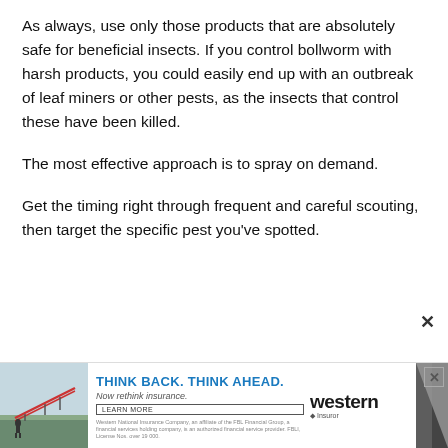As always, use only those products that are absolutely safe for beneficial insects. If you control bollworm with harsh products, you could easily end up with an outbreak of leaf miners or other pests, as the insects that control these have been killed.
The most effective approach is to spray on demand.
Get the timing right through frequent and careful scouting, then target the specific pest you've spotted.
[Figure (advertisement): Western insurance advertisement with farm irrigation photo, headline 'THINK BACK. THINK AHEAD. Now rethink insurance.' and Learn More button]